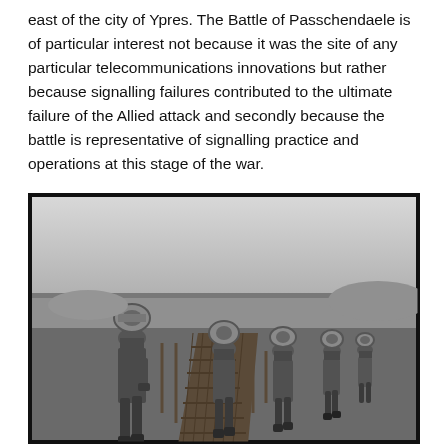east of the city of Ypres. The Battle of Passchendaele is of particular interest not because it was the site of any particular telecommunications innovations but rather because signalling failures contributed to the ultimate failure of the Allied attack and secondly because the battle is representative of signalling practice and operations at this stage of the war.
[Figure (photo): Black and white World War I photograph showing a line of soldiers walking along a wooden duckboard path through a muddy, desolate battlefield landscape. Each soldier carries a large cable drum/spool on their back. The scene depicts signallers laying telegraph or telephone wire in the Passchendaele area near Ypres.]